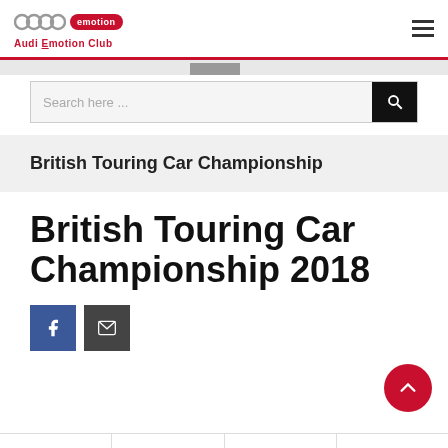Audi Emotion Club
Search here ...
British Touring Car Championship
British Touring Car Championship 2018